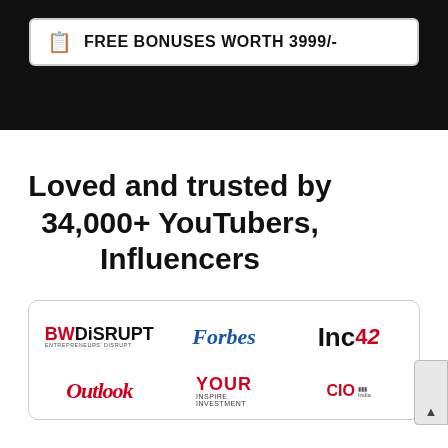FREE BONUSES WORTH 3999/-
Loved and trusted by 34,000+ YouTubers, Influencers
[Figure (logo): Media logos: BW Disrupt, Forbes, Inc42, Outlook, YOUR Inspire Investment, CIO]